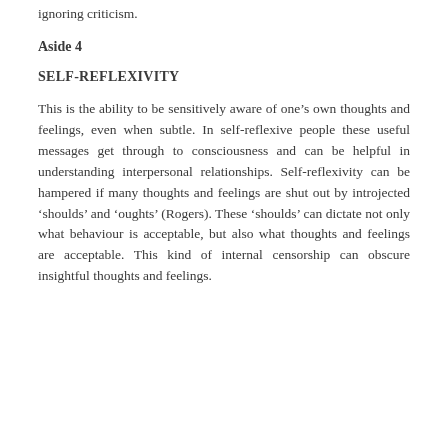ignoring criticism.
Aside 4
SELF-REFLEXIVITY
This is the ability to be sensitively aware of one’s own thoughts and feelings, even when subtle. In self-reflexive people these useful messages get through to consciousness and can be helpful in understanding interpersonal relationships. Self-reflexivity can be hampered if many thoughts and feelings are shut out by introjected ‘shoulds’ and ‘oughts’ (Rogers). These ‘shoulds’ can dictate not only what behaviour is acceptable, but also what thoughts and feelings are acceptable. This kind of internal censorship can obscure insightful thoughts and feelings.